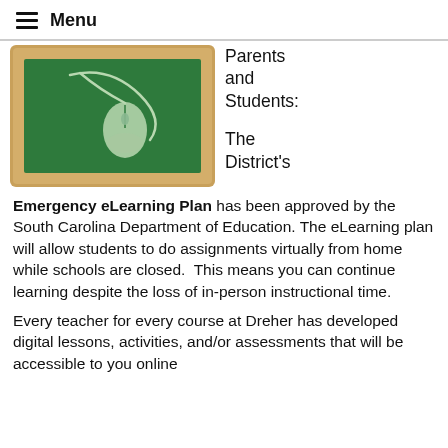Menu
[Figure (illustration): Chalkboard with a computer mouse drawn in chalk on a green board with a wooden frame]
Parents and Students:
The District's
Emergency eLearning Plan has been approved by the South Carolina Department of Education. The eLearning plan will allow students to do assignments virtually from home while schools are closed.  This means you can continue learning despite the loss of in-person instructional time.
Every teacher for every course at Dreher has developed digital lessons, activities, and/or assessments that will be accessible to you online